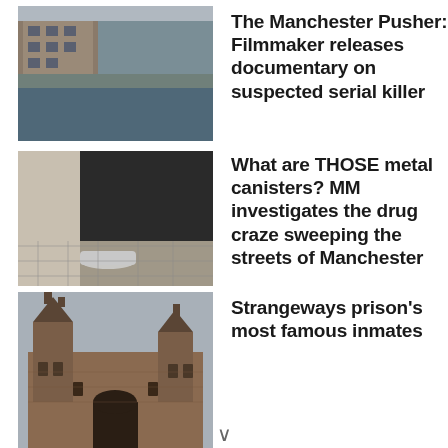[Figure (photo): Photo of a Manchester canal with brick buildings]
The Manchester Pusher: Filmmaker releases documentary on suspected serial killer
[Figure (photo): Photo of a metal canister on cobblestone ground]
What are THOSE metal canisters? MM investigates the drug craze sweeping the streets of Manchester
[Figure (photo): Photo of Strangeways prison building exterior]
Strangeways prison's most famous inmates
[Figure (photo): Black and white portrait photo of a man]
Missing Moors Murders victim's body could be found thanks to new